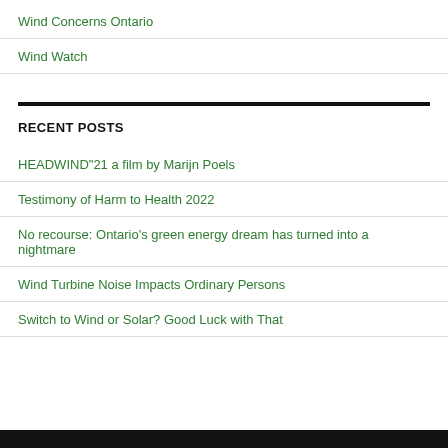Wind Concerns Ontario
Wind Watch
RECENT POSTS
HEADWIND"21 a film by Marijn Poels
Testimony of Harm to Health 2022
No recourse: Ontario's green energy dream has turned into a nightmare
Wind Turbine Noise Impacts Ordinary Persons
Switch to Wind or Solar? Good Luck with That